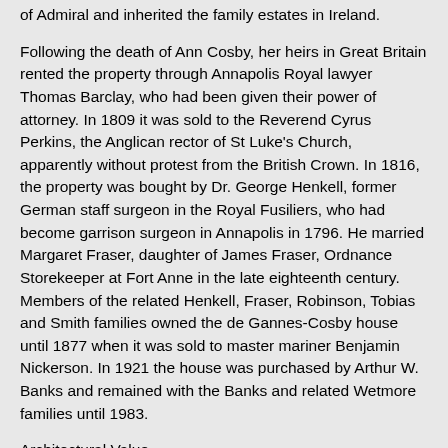of Admiral and inherited the family estates in Ireland.
Following the death of Ann Cosby, her heirs in Great Britain rented the property through Annapolis Royal lawyer Thomas Barclay, who had been given their power of attorney. In 1809 it was sold to the Reverend Cyrus Perkins, the Anglican rector of St Luke's Church, apparently without protest from the British Crown. In 1816, the property was bought by Dr. George Henkell, former German staff surgeon in the Royal Fusiliers, who had become garrison surgeon in Annapolis in 1796. He married Margaret Fraser, daughter of James Fraser, Ordnance Storekeeper at Fort Anne in the late eighteenth century. Members of the related Henkell, Fraser, Robinson, Tobias and Smith families owned the de Gannes-Cosby house until 1877 when it was sold to master mariner Benjamin Nickerson. In 1921 the house was purchased by Arthur W. Banks and remained with the Banks and related Wetmore families until 1983.
Architectural Value
The de Gannes-Cosby house, built in the Acadian style, is one of the few buildings dating from the French regime in Nova Scotia (prior to 1710) that is still standing. The building is also a rare example of early Acadian architecture, as most buildings in this style were destroyed by the British during the 1755 deportation.